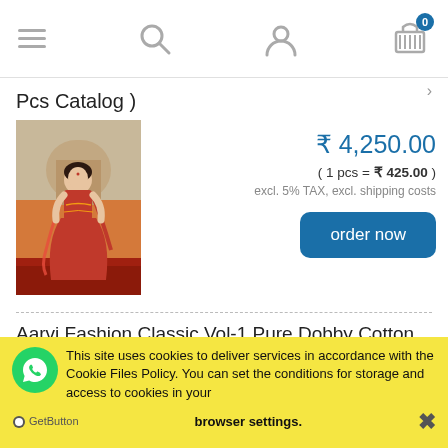Navigation bar with menu, search, user, and cart icons (0 items)
Pcs Catalog )
[Figure (photo): Photo of a woman wearing an orange/red Indian saree/dress against an architectural background]
₹ 4,250.00
( 1 pcs = ₹ 425.00 )
excl. 5% TAX, excl. shipping costs
order now
Aarvi Fashion Classic Vol-1 Pure Dobby Cotton Dress
This site uses cookies to deliver services in accordance with the Cookie Files Policy. You can set the conditions for storage and access to cookies in your browser settings.
GetButton